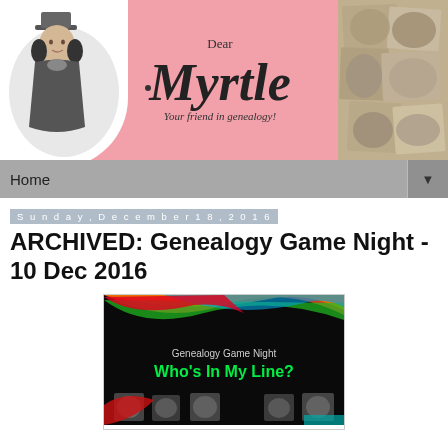[Figure (illustration): Dear Myrtle blog header banner with pink background, a circular black-and-white illustration of a Victorian woman with a top hat on the left, cursive 'Dear Myrtle, Your friend in genealogy!' text in the center, and a collage of vintage family photos on the right.]
Home ▼
Sunday, December 18, 2016
ARCHIVED: Genealogy Game Night - 10 Dec 2016
[Figure (screenshot): Screenshot of a dark presentation slide with colorful swooshes at top, showing text 'Genealogy Game Night' and 'Who's In My Line?' in green text, with vintage portrait photos at the bottom.]